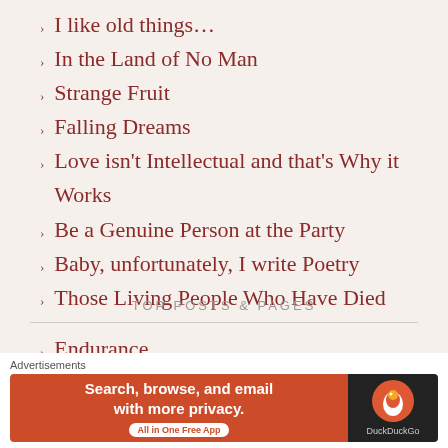I like old things…
In the Land of No Man
Strange Fruit
Falling Dreams
Love isn't Intellectual and that's Why it Works
Be a Genuine Person at the Party
Baby, unfortunately, I write Poetry
Those Living People Who Have Died
TOP POSTS & PAGES
Endurance
Advertisements
[Figure (screenshot): DuckDuckGo advertisement banner: Search, browse, and email with more privacy. All in One Free App. DuckDuckGo logo on dark background.]